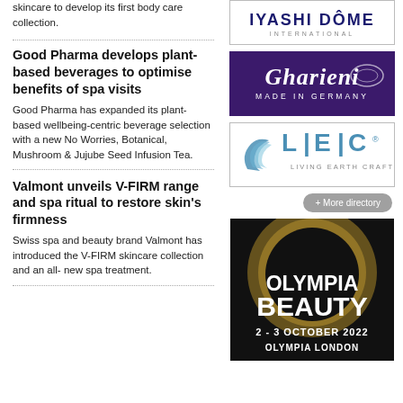skincare to develop its first body care collection.
Good Pharma develops plant-based beverages to optimise benefits of spa visits
Good Pharma has expanded its plant-based wellbeing-centric beverage selection with a new No Worries, Botanical, Mushroom & Jujube Seed Infusion Tea.
Valmont unveils V-FIRM range and spa ritual to restore skin's firmness
Swiss spa and beauty brand Valmont has introduced the V-FIRM skincare collection and an all- new spa treatment.
[Figure (logo): Iyashi Dome International logo in a bordered box]
[Figure (logo): Gharieni Made in Germany logo on dark purple background]
[Figure (logo): LEC Living Earth Crafts logo in a bordered box]
+ More directory
[Figure (photo): Olympia Beauty 2-3 October 2022 Olympia London event poster with gold and black design]